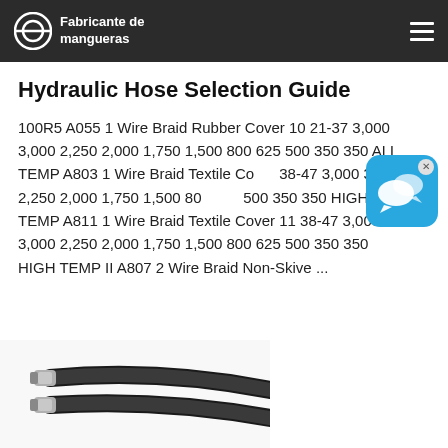Fabricante de mangueras
Hydraulic Hose Selection Guide
100R5 A055 1 Wire Braid Rubber Cover 10 21-37 3,000 3,000 2,250 2,000 1,750 1,500 800 625 500 350 350 ALL TEMP A803 1 Wire Braid Textile Cover 38-47 3,000 3,000 2,250 2,000 1,750 1,500 800 500 350 350 HIGH TEMP A811 1 Wire Braid Textile Cover 11 38-47 3,000 3,000 2,250 2,000 1,750 1,500 800 625 500 350 350 HIGH TEMP II A807 2 Wire Braid Non-Skive ...
[Figure (photo): Black hydraulic hoses with metal fittings on white background]